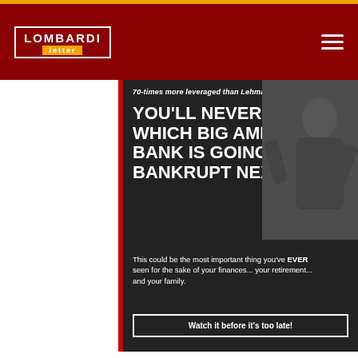Lombardi Letter
[Figure (infographic): Advertisement banner: '70-times more leveraged than Lehman Brothers... YOU'LL NEVER GUESS WHICH BIG AMERICAN BANK IS GOING BANKRUPT NEXT. This could be the most important thing you've EVER seen for the sake of your finances... your retirement... and your family. Watch it before it's too late!' with a close button (X) and an image of a distressed businessman.]